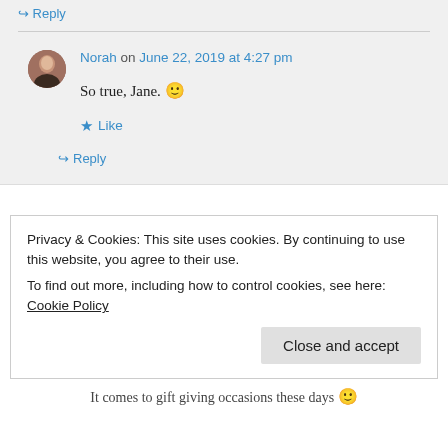↪ Reply
Norah on June 22, 2019 at 4:27 pm
So true, Jane. 🙂
★ Like
↪ Reply
Privacy & Cookies: This site uses cookies. By continuing to use this website, you agree to their use. To find out more, including how to control cookies, see here: Cookie Policy
Close and accept
It comes to gift giving occasions these days 🙂